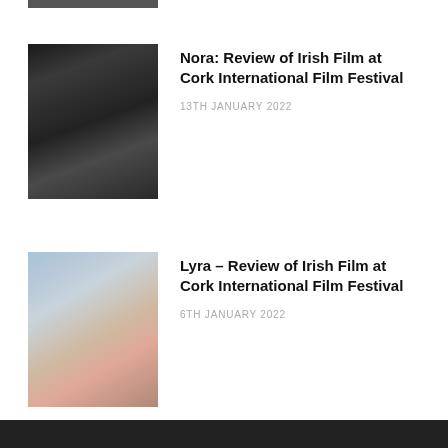[Figure (photo): Partial view of a film/person thumbnail image at top of page, cropped]
[Figure (photo): Person wearing a hat, dark portrait photo, thumbnail for Nora film review article]
Nora: Review of Irish Film at Cork International Film Festival
13TH JANUARY 2022
[Figure (photo): Person with short dark hair and glasses, colorful blurred background, thumbnail for Lyra film review article]
Lyra – Review of Irish Film at Cork International Film Festival
6TH JANUARY 2022